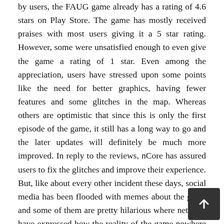by users, the FAUG game already has a rating of 4.6 stars on Play Store. The game has mostly received praises with most users giving it a 5 star rating. However, some were unsatisfied enough to even give the game a rating of 1 star. Even among the appreciation, users have stressed upon some points like the need for better graphics, having fewer features and some glitches in the map. Whereas others are optimistic that since this is only the first episode of the game, it still has a long way to go and the later updates will definitely be much more improved. In reply to the reviews, nCore has assured users to fix the glitches and improve their experience. But, like about every other incident these days, social media has been flooded with memes about the game and some of them are pretty hilarious where netizens have expressed how the reality of the game nowhere matched up to their expectations. However, others have happily welcomed the game too.